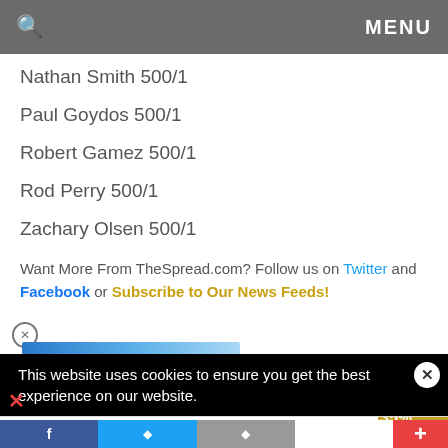🔍  MENU
Nathan Smith 500/1
Paul Goydos 500/1
Robert Gamez 500/1
Rod Perry 500/1
Zachary Olsen 500/1
Want More From TheSpread.com? Follow us on Twitter and Facebook or Subscribe to Our News Feeds!
This website uses cookies to ensure you get the best experience on our website.
[Figure (screenshot): Advertisement banner: The perfect gift, 35% OFF + FREE SHIPPING]